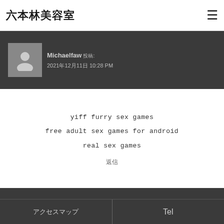六本林美容室
Michaelfaw 投稿: 2021年12月11日 10:28 PM
yiff furry sex games
free adult sex games for android
real sex games
返信
Ronaldfah 投稿: 2021年12月13日 8:54 AM
アクセスマップ  Tel